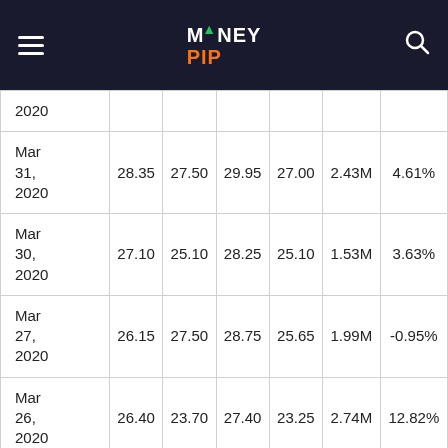MoneyPip
| Date | Close | Open | High | Low | Volume | Change% |
| --- | --- | --- | --- | --- | --- | --- |
| 2020 |  |  |  |  |  |  |
| Mar 31, 2020 | 28.35 | 27.50 | 29.95 | 27.00 | 2.43M | 4.61% |
| Mar 30, 2020 | 27.10 | 25.10 | 28.25 | 25.10 | 1.53M | 3.63% |
| Mar 27, 2020 | 26.15 | 27.50 | 28.75 | 25.65 | 1.99M | -0.95% |
| Mar 26, 2020 | 26.40 | 23.70 | 27.40 | 23.25 | 2.74M | 12.82% |
| Mar |  |  |  |  |  |  |